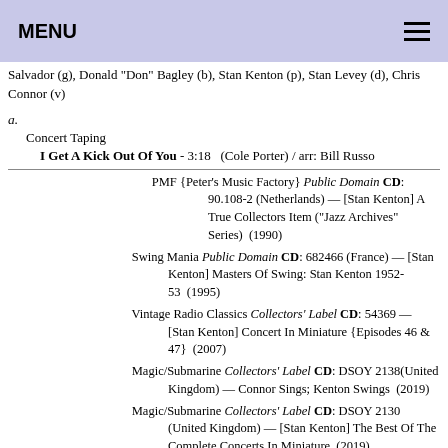MENU
Salvador (g), Donald "Don" Bagley (b), Stan Kenton (p), Stan Levey (d), Chris Connor (v)
a.
Concert Taping
I Get A Kick Out Of You - 3:18   (Cole Porter) / arr: Bill Russo
PMF {Peter's Music Factory} Public Domain CD: 90.108-2 (Netherlands) — [Stan Kenton] A True Collectors Item ("Jazz Archives" Series)  (1990)
Swing Mania Public Domain CD: 682466 (France) — [Stan Kenton] Masters Of Swing: Stan Kenton 1952-53  (1995)
Vintage Radio Classics Collectors' Label CD: 54369 — [Stan Kenton] Concert In Miniature {Episodes 46 & 47}  (2007)
Magic/Submarine Collectors' Label CD: DSOY 2138(United Kingdom) — Connor Sings; Kenton Swings  (2019)
Magic/Submarine Collectors' Label CD: DSOY 2130 (United Kingdom) — [Stan Kenton] The Best Of The Complete Concerts In Miniature  (2019)
Powder Public Domain CD: 6783 (France) — [Stan Kenton] Stan Kenton ("Filigram Jazz" Series)